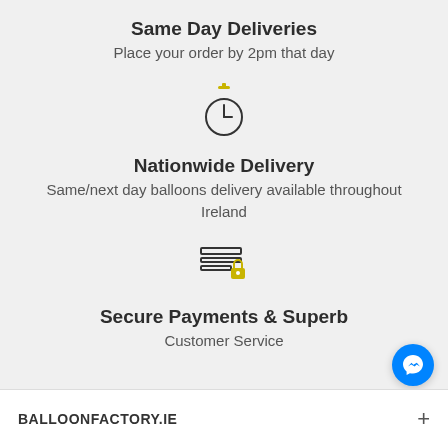Same Day Deliveries
Place your order by 2pm that day
[Figure (illustration): Stopwatch/clock icon with yellow top bar and clock face with hands]
Nationwide Delivery
Same/next day balloons delivery available throughout Ireland
[Figure (illustration): Credit card with lock icon indicating secure payments]
Secure Payments & Superb
Customer Service
BALLOONFACTORY.IE